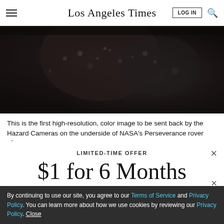Los Angeles Times
[Figure (photo): Dark high-resolution close-up image of rocky Martian surface, showing texture and terrain detail — first color image from Hazard Cameras on the underside of NASA's Perseverance rover.]
This is the first high-resolution, color image to be sent back by the Hazard Cameras on the underside of NASA's Perseverance rover after
LIMITED-TIME OFFER
$1 for 6 Months
SUBSCRIBE NOW
By continuing to use our site, you agree to our Terms of Service and Privacy Policy. You can learn more about how we use cookies by reviewing our Privacy Policy. Close